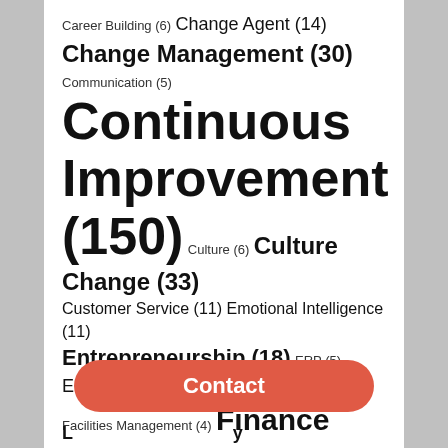Career Building (6) Change Agent (14) Change Management (30) Communication (5) Continuous Improvement (150) Culture (6) Culture Change (33) Customer Service (11) Emotional Intelligence (11) Entrepreneurship (18) ERP (5) Eurologistics (12) Facilities Management (4) Finance (29) Gemba (4) Guerrilla Transformation (8) High Performance Organization (7) Human Resources (15) Industrial Engineering (6) Information & Technology (11) Innovation (35) Kaizen (5) KPI (5)
Contact